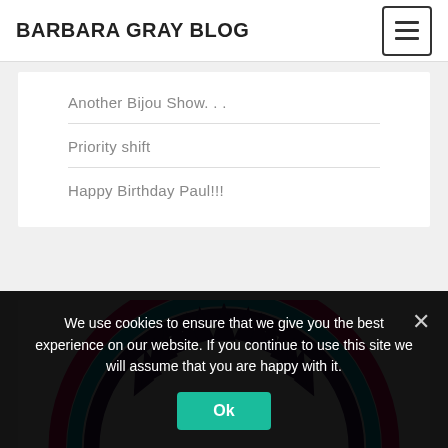BARBARA GRAY BLOG
Another Bijou Show…
Priority shift
Happy Birthday Paul!!!
[Figure (illustration): Colorful circular mandala/sunburst design with concentric rings in pink, blue, and purple with dark spiky crown shape along the top arc]
We use cookies to ensure that we give you the best experience on our website. If you continue to use this site we will assume that you are happy with it.
Ok